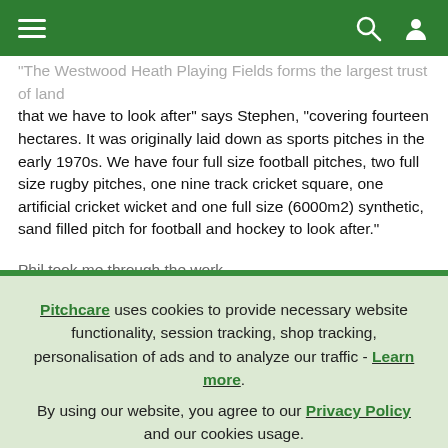Pitchcare website header with hamburger menu, search icon, and user icon
"The Westwood Heath Playing Fields forms the largest trust of land that we have to look after" says Stephen, "covering fourteen hectares. It was originally laid down as sports pitches in the early 1970s. We have four full size football pitches, two full size rugby pitches, one nine track cricket square, one artificial cricket wicket and one full size (6000m2) synthetic, sand filled pitch for football and hockey to look after."
Phil took me through the work
Pitchcare uses cookies to provide necessary website functionality, session tracking, shop tracking, personalisation of ads and to analyze our traffic - Learn more. By using our website, you agree to our Privacy Policy and our cookies usage.
Accept